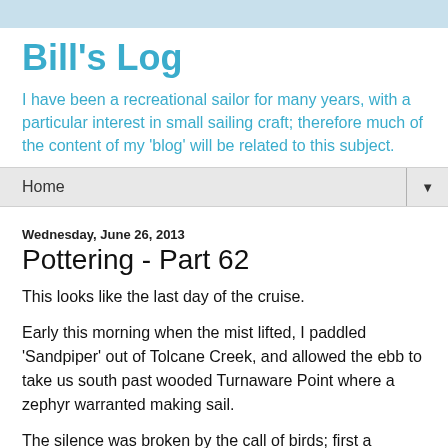Bill's Log
I have been a recreational sailor for many years, with a particular interest in small sailing craft; therefore much of the content of my 'blog' will be related to this subject.
Home
Wednesday, June 26, 2013
Pottering - Part 62
This looks like the last day of the cruise.
Early this morning when the mist lifted, I paddled 'Sandpiper' out of Tolcane Creek, and allowed the ebb to take us south past wooded Turnaware Point where a zephyr warranted making sail.
The silence was broken by the call of birds; first a pheasant